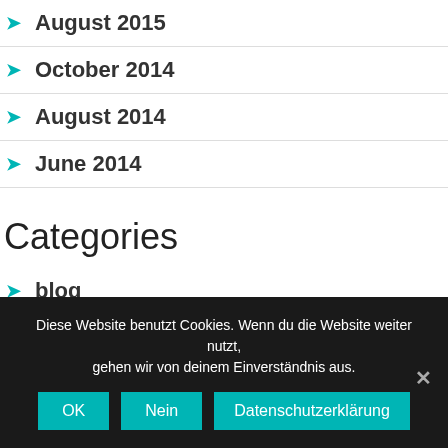August 2015
October 2014
August 2014
June 2014
Categories
blog
classes, seminars & course
Diese Website benutzt Cookies. Wenn du die Website weiter nutzt, gehen wir von deinem Einverständnis aus.
OK  Nein  Datenschutzerklärung